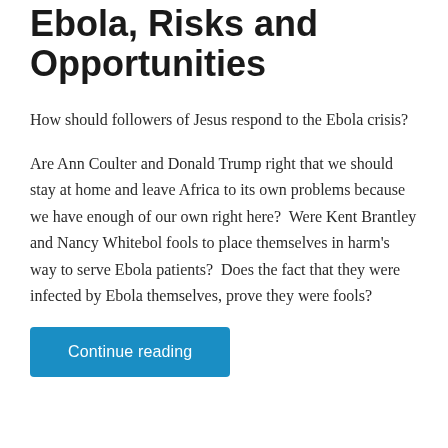Ebola, Risks and Opportunities
How should followers of Jesus respond to the Ebola crisis?
Are Ann Coulter and Donald Trump right that we should stay at home and leave Africa to its own problems because we have enough of our own right here?  Were Kent Brantley and Nancy Whitebol fools to place themselves in harm's way to serve Ebola patients?  Does the fact that they were infected by Ebola themselves, prove they were fools?
Continue reading